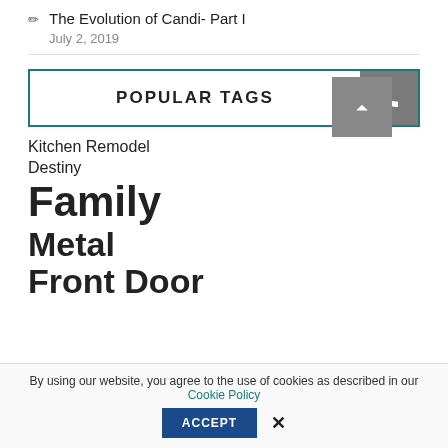The Evolution of Candi- Part I
July 2, 2019
POPULAR TAGS
Kitchen Remodel
Destiny
Family
Metal
Front Door
By using our website, you agree to the use of cookies as described in our Cookie Policy